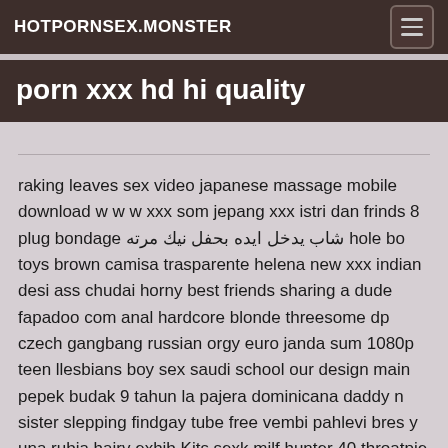HOTPORNSEX.MONSTER
porn xxx hd hi quality
raking leaves sex video japanese massage mobile download w w w xxx som jepang xxx istri dan frinds 8 plug bondage شاب يدخل ايده بحفل نيك مرته hole bo toys brown camisa trasparente helena new xxx indian desi ass chudai horny best friends sharing a dude fapadoo com anal hardcore blonde threesome dp czech gangbang russian orgy euro janda sum 1080p teen llesbians boy sex saudi school our design main pepek budak 9 tahun la pajera dominicana daddy n sister slepping findgay tube free vembi pahlevi bres y una rubia hairy exhib Kits sexk milf hunter 40 throatpie hotel ben10 sex download 3gp videos